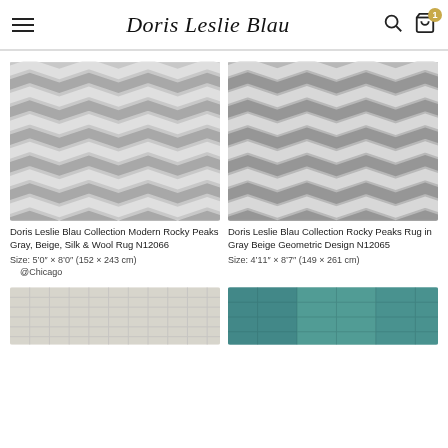Doris Leslie Blau
[Figure (photo): Chevron gray beige silk wool rug close-up photo]
Doris Leslie Blau Collection Modern Rocky Peaks Gray, Beige, Silk & Wool Rug N12066
Size: 5'0" × 8'0" (152 × 243 cm) @Chicago
[Figure (photo): Chevron gray beige geometric rug close-up photo]
Doris Leslie Blau Collection Rocky Peaks Rug in Gray Beige Geometric Design N12065
Size: 4'11" × 8'7" (149 × 261 cm)
[Figure (photo): Light beige geometric pattern rug partial view]
[Figure (photo): Turquoise/teal overdyed vintage rug partial view]